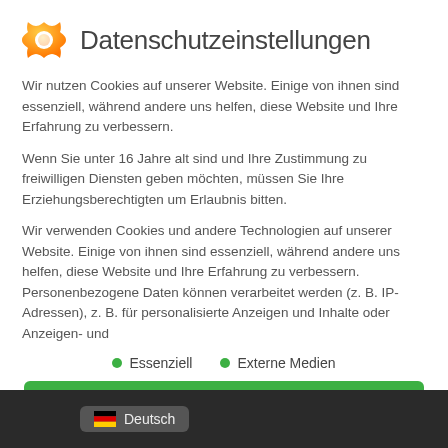Datenschutzeinstellungen
Wir nutzen Cookies auf unserer Website. Einige von ihnen sind essenziell, während andere uns helfen, diese Website und Ihre Erfahrung zu verbessern.
Wenn Sie unter 16 Jahre alt sind und Ihre Zustimmung zu freiwilligen Diensten geben möchten, müssen Sie Ihre Erziehungsberechtigten um Erlaubnis bitten.
Wir verwenden Cookies und andere Technologien auf unserer Website. Einige von ihnen sind essenziell, während andere uns helfen, diese Website und Ihre Erfahrung zu verbessern. Personenbezogene Daten können verarbeitet werden (z. B. IP-Adressen), z. B. für personalisierte Anzeigen und Inhalte oder Anzeigen- und
Essenziell
Externe Medien
Ich akzeptiere
Deutsch